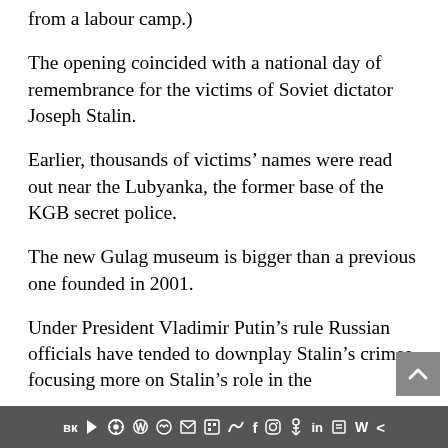from a labour camp.)
The opening coincided with a national day of remembrance for the victims of Soviet dictator Joseph Stalin.
Earlier, thousands of victims' names were read out near the Lubyanka, the former base of the KGB secret police.
The new Gulag museum is bigger than a previous one founded in 2001.
Under President Vladimir Putin’s rule Russian officials have tended to downplay Stalin’s crimes, focusing more on Stalin’s role in the
вк ▶ ℝ Ⓦ ✓ ✉ ▣ 🐦 f 📷 📌 t in 🎁 W <